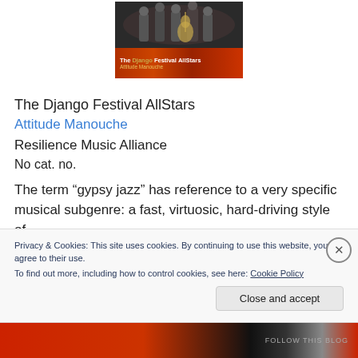[Figure (photo): Album cover for The Django Festival AllStars - Attitude Manouche. Top half shows musicians with instruments on dark background. Bottom half has red/orange swirl background with album title text.]
The Django Festival AllStars
Attitude Manouche
Resilience Music Alliance
No cat. no.
The term “gypsy jazz” has reference to a very specific musical subgenre: a fast, virtuosic, hard-driving style of
Privacy & Cookies: This site uses cookies. By continuing to use this website, you agree to their use.
To find out more, including how to control cookies, see here: Cookie Policy
Close and accept